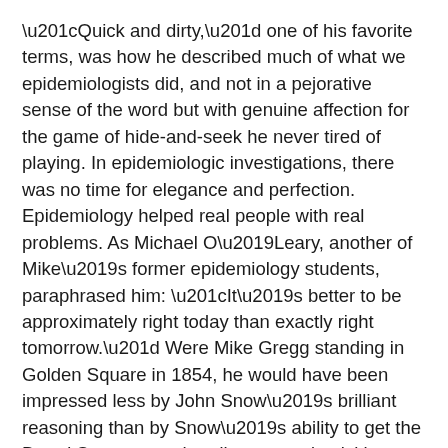“Quick and dirty,” one of his favorite terms, was how he described much of what we epidemiologists did, and not in a pejorative sense of the word but with genuine affection for the game of hide-and-seek he never tired of playing. In epidemiologic investigations, there was no time for elegance and perfection. Epidemiology helped real people with real problems. As Michael O’Leary, another of Mike’s former epidemiology students, paraphrased him: “It’s better to be approximately right today than exactly right tomorrow.” Were Mike Gregg standing in Golden Square in 1854, he would have been impressed less by John Snow’s brilliant reasoning than by Snow’s ability to get the Broad Street pump handle removed quickly, thereby saving more lives.
Avuncular, almost fatherly at times, Mike clearly enjoyed mentoring young colleagues, and in doing so